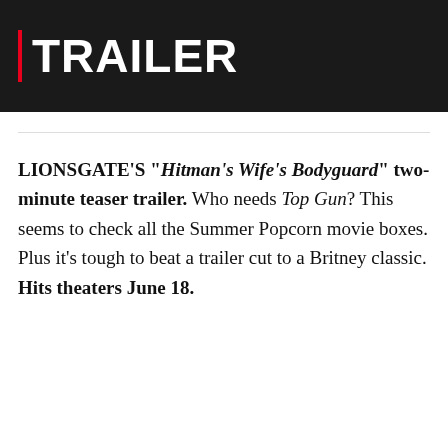[Figure (screenshot): Dark movie trailer banner image with a red vertical bar and large white bold text reading 'TRAILER' on a dark/black background]
LIONSGATE'S "Hitman's Wife's Bodyguard" two-minute teaser trailer. Who needs Top Gun? This seems to check all the Summer Popcorn movie boxes. Plus it's tough to beat a trailer cut to a Britney classic. Hits theaters June 18.
[Figure (screenshot): YouTube video embed showing Lionsgate channel icon and title 'Hitman's Wife's Bodyguard (2021 M...' with three-dot menu, and a dark movie scene below with a red YouTube play button and three figures]